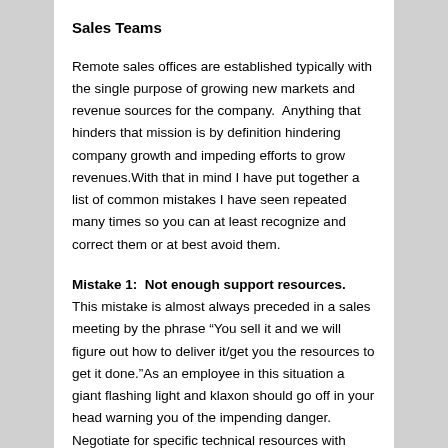Sales Teams
Remote sales offices are established typically with the single purpose of growing new markets and revenue sources for the company.  Anything that hinders that mission is by definition hindering company growth and impeding efforts to grow revenues.With that in mind I have put together a list of common mistakes I have seen repeated many times so you can at least recognize and correct them or at best avoid them.
Mistake 1:  Not enough support resources.  This mistake is almost always preceded in a sales meeting by the phrase “You sell it and we will figure out how to deliver it/get you the resources to get it done.”As an employee in this situation a giant flashing light and klaxon should go off in your head warning you of the impending danger. Negotiate for specific technical resources with timeline commitments before you accept the position or ask and understand how your sales efforts will be supported.  If it does not pass the smell test in explanation, you should